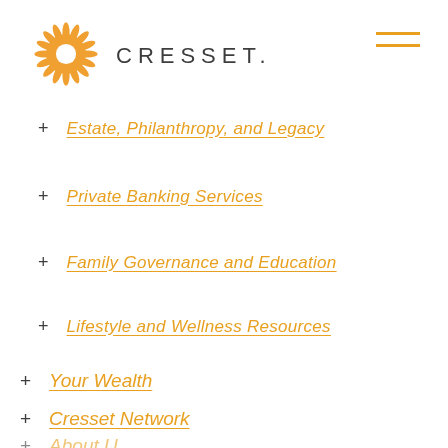[Figure (logo): Cresset logo: sunburst/radial orange/gold design with CRESSET wordmark in gray]
+ Estate, Philanthropy, and Legacy
+ Private Banking Services
+ Family Governance and Education
+ Lifestyle and Wellness Resources
+ Your Wealth
+ Cresset Network
+ About Us (partial)